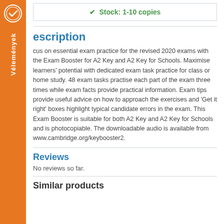[Figure (other): Orange sidebar tab with a quality badge/seal icon and vertical Hungarian text 'Vélemények']
Stock: 1-10 copies
Description
Focus on essential exam practice for the revised 2020 exams with the Exam Booster for A2 Key and A2 Key for Schools. Maximise learners' potential with dedicated exam task practice for class or home study. 48 exam tasks practise each part of the exam three times while exam facts provide practical information. Exam tips provide useful advice on how to approach the exercises and 'Get it right' boxes highlight typical candidate errors in the exam. This Exam Booster is suitable for both A2 Key and A2 Key for Schools and is photocopiable. The downloadable audio is available from www.cambridge.org/keybooster2.
Reviews
No reviews so far.
Similar products